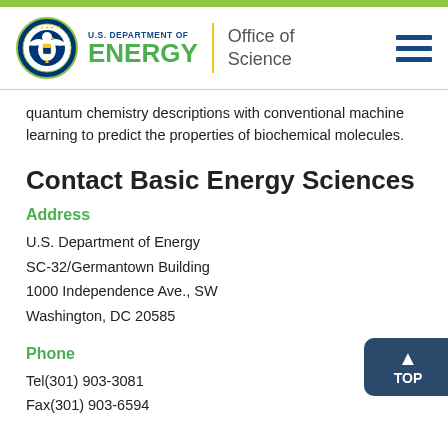[Figure (logo): U.S. Department of Energy Office of Science logo with DOE seal, green ENERGY wordmark, yellow divider, and Office of Science text]
quantum chemistry descriptions with conventional machine learning to predict the properties of biochemical molecules.
Contact Basic Energy Sciences
Address
U.S. Department of Energy
SC-32/Germantown Building
1000 Independence Ave., SW
Washington, DC 20585
Phone
Tel(301) 903-3081
Fax(301) 903-6594